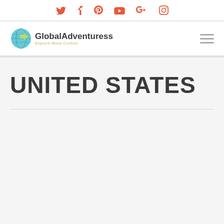[Figure (logo): Social media icons bar: Twitter, Facebook, Pinterest, YouTube, Google+, Instagram in coral/orange color]
[Figure (logo): GlobalAdventuress logo with globe icon and tagline 'Explore More Control', plus hamburger menu icon]
UNITED STATES